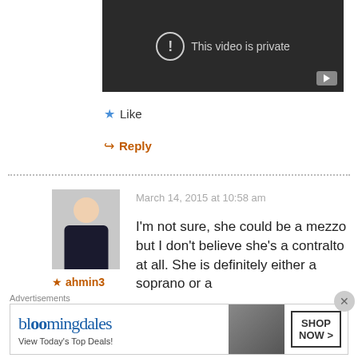[Figure (screenshot): Dark video player showing 'This video is private' message with a circle exclamation icon and a YouTube play button in the bottom right corner.]
Like
Reply
[Figure (photo): User avatar photo of a young man wearing a dark NYC sweatshirt.]
ahmin3
March 14, 2015 at 10:58 am
I'm not sure, she could be a mezzo but I don't believe she's a contralto at all. She is definitely either a soprano or a
[Figure (screenshot): Bloomingdale's advertisement banner with logo, 'View Today's Top Deals!' tagline, a woman in a hat, and a 'SHOP NOW >' button.]